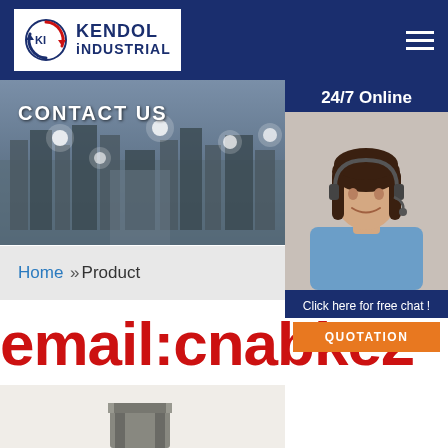[Figure (logo): Kendol Industrial company logo with circular arrow graphic on white background in dark blue header bar]
[Figure (photo): City skyline/industrial panoramic photo with bright lights for CONTACT US banner hero image]
CONTACT US
[Figure (photo): 24/7 Online customer service representative woman with headset smiling]
24/7 Online
Click here for free chat !
QUOTATION
Home »Product
email:cnabke2
[Figure (photo): Industrial metal product partial view at bottom of page]